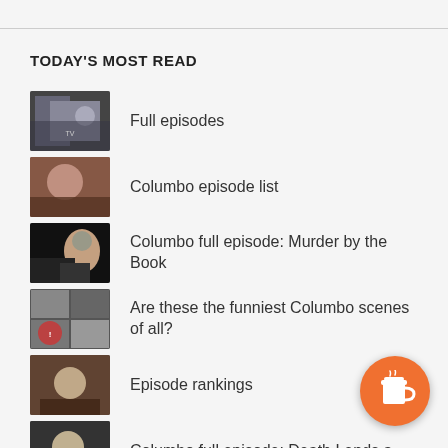TODAY'S MOST READ
Full episodes
Columbo episode list
Columbo full episode: Murder by the Book
Are these the funniest Columbo scenes of all?
Episode rankings
Columbo full episode: Death Lends a Hand
Columbo full episode: Suitable for Framing
[Figure (illustration): Orange coffee cup button/badge in bottom-right corner]